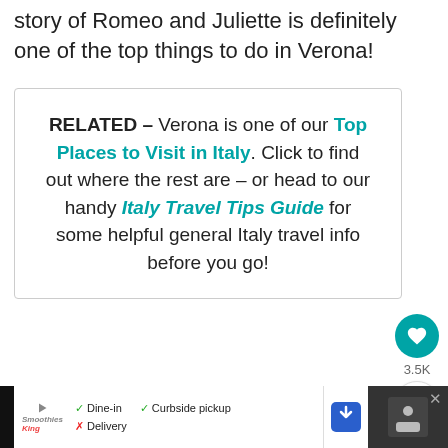story of Romeo and Juliette is definitely one of the top things to do in Verona!
RELATED – Verona is one of our Top Places to Visit in Italy. Click to find out where the rest are – or head to our handy Italy Travel Tips Guide for some helpful general Italy travel info before you go!
[Figure (infographic): Social share widget showing heart icon with 3.5K count and share icon]
[Figure (infographic): WHAT'S NEXT arrow with thumbnail image and text: Top Things to Do in Krako...]
[Figure (infographic): Advertisement bar at bottom showing Smoothie King logo with Dine-in, Curbside pickup, Delivery options and navigation icon]